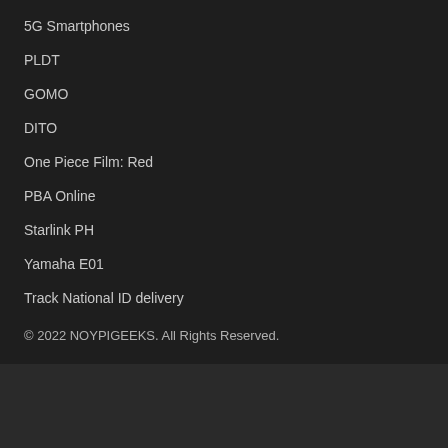5G Smartphones
PLDT
GOMO
DITO
One Piece Film: Red
PBA Online
Starlink PH
Yamaha E01
Track National ID delivery
© 2022 NOYPIGEEKS. All Rights Reserved.